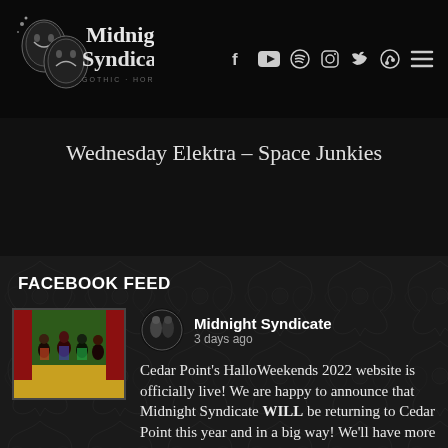[Figure (logo): Midnight Syndicate logo with theatrical masks and gothic lettering, tagline: gothic, horror, supernatural]
Social media navigation icons: Facebook, YouTube, Spotify, Instagram, Twitter, music icon, menu
Wednesday Elektra – Space Junkies
FACEBOOK FEED
[Figure (photo): Thumbnail image of group of people in colorful costumes, possibly a Halloween themed event]
Midnight Syndicate
3 days ago

Cedar Point's HalloWeekends 2022 website is officially live! We are happy to announce that Midnight Syndicate WILL be returning to Cedar Point this year and in a big way! We'll have more details